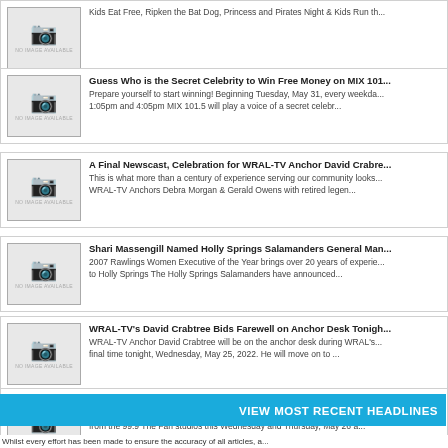Kids Eat Free, Ripken the Bat Dog, Princess and Pirates Night & Kids Run th...
Guess Who is the Secret Celebrity to Win Free Money on MIX 101...
Prepare yourself to start winning! Beginning Tuesday, May 31, every weekda... 1:05pm and 4:05pm MIX 101.5 will play a voice of a secret celebr...
A Final Newscast, Celebration for WRAL-TV Anchor David Crabre...
This is what more than a century of experience serving our community looks... WRAL-TV Anchors Debra Morgan & Gerald Owens with retired legen...
Shari Massengill Named Holly Springs Salamanders General Man...
2007 Rawlings Women Executive of the Year brings over 20 years of experie... to Holly Springs The Holly Springs Salamanders have announced...
WRAL-TV's David Crabtree Bids Farewell on Anchor Desk Tonigh...
WRAL-TV Anchor David Crabtree will be on the anchor desk during WRAL's... final time tonight, Wednesday, May 25, 2022. He will move on to ...
ESPN's Keyshawn Johnson & Jay Williams Live in 99.9 The Fan S...
ESPN Radio's Keyshawn Johnson and Jay Williams are headed to Raleigh-D... from the 99.9 The Fan studios this Wednesday and Thursday, May 26 a...
VIEW MOST RECENT HEADLINES
Whilst every effort has been made to ensure the accuracy of all articles, a...